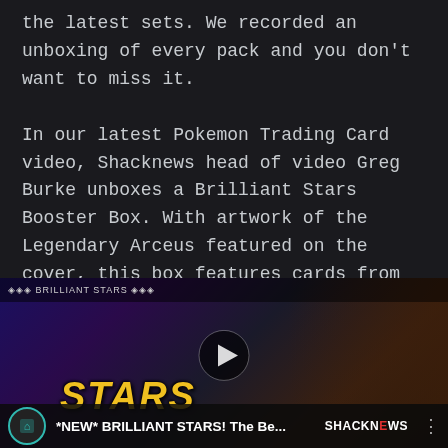the latest sets. We recorded an unboxing of every pack and you don't want to miss it.
In our latest Pokemon Trading Card video, Shacknews head of video Greg Burke unboxes a Brilliant Stars Booster Box. With artwork of the Legendary Arceus featured on the cover, this box features cards from the latest Sword and Shield sets of the Pokemon TCG. The box contains 36 Booster Packs of cards, and Greg goes through every single pack, highlighting each card and previewing its stats.
[Figure (screenshot): YouTube video thumbnail for '*NEW* BRILLIANT STARS! The Be...' by Shacknews, showing the word STARS in large gold text with a person in the background, channel icon on the left, and Shacknews logo on the right.]